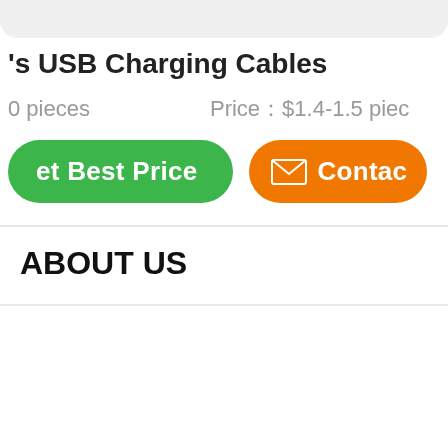's USB Charging Cables
0 pieces    Price：$1.4-1.5 piece
[Figure (other): Green 'Get Best Price' button and orange 'Contact' button with envelope icon]
ABOUT US